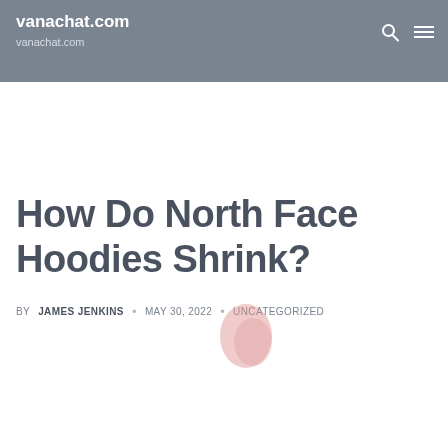vanachat.com
vanachat.com
How Do North Face Hoodies Shrink?
BY JAMES JENKINS • MAY 30, 2022 • UNCATEGORIZED